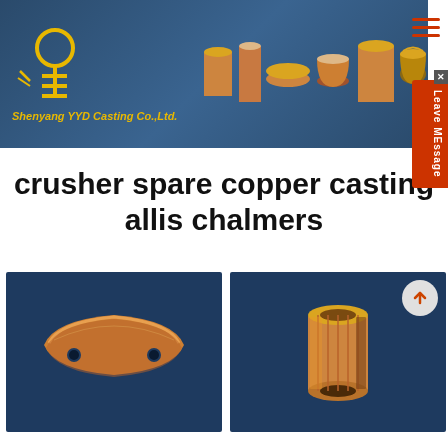[Figure (logo): Shenyang YYD Casting Co.,Ltd. logo with yellow lightbulb/key icon and company name, alongside copper casting product photos on dark blue banner background]
crusher spare copper casting allis chalmers
[Figure (photo): Copper casting piece - curved arc-shaped copper alloy part with two holes on dark blue background]
[Figure (photo): Copper bushing/sleeve cylindrical casting on dark blue background with up-arrow navigation button]
Leave MEssage